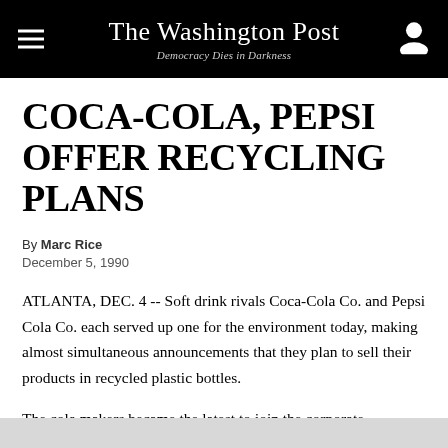The Washington Post — Democracy Dies in Darkness
COCA-COLA, PEPSI OFFER RECYCLING PLANS
By Marc Rice
December 5, 1990
ATLANTA, DEC. 4 -- Soft drink rivals Coca-Cola Co. and Pepsi Cola Co. each served up one for the environment today, making almost simultaneous announcements that they plan to sell their products in recycled plastic bottles.
The cola makers became the latest to join the corporate